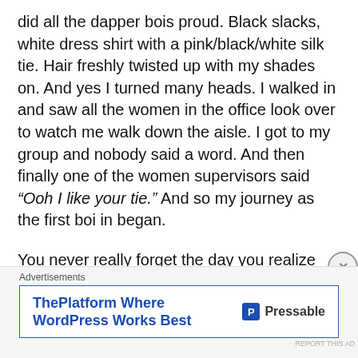did all the dapper bois proud. Black slacks, white dress shirt with a pink/black/white silk tie. Hair freshly twisted up with my shades on. And yes I turned many heads. I walked in and saw all the women in the office look over to watch me walk down the aisle. I got to my group and nobody said a word. And then finally one of the women supervisors said “Ooh I like your tie.” And so my journey as the first boi in began.
You never really forget the day you realize that not only are you a stranger in a foreign land, but you are the first of a species that those around you have ever encountered. I had to get used to the daily stares, the interested glances of some and the disdain of others. I had to tow the fine line between curious women and
Advertisements
[Figure (other): Advertisement banner for Pressable: 'ThePlatform Where WordPress Works Best' with Pressable logo]